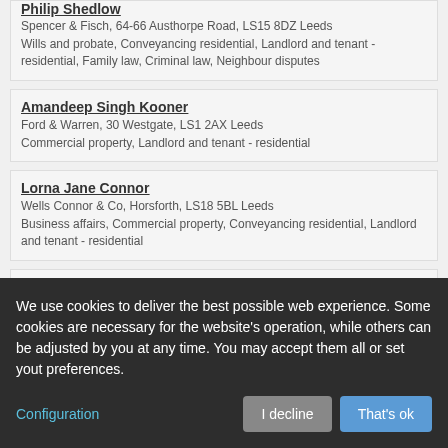Philip Shedlow
Spencer & Fisch, 64-66 Austhorpe Road, LS15 8DZ Leeds
Wills and probate, Conveyancing residential, Landlord and tenant - residential, Family law, Criminal law, Neighbour disputes
Amandeep Singh Kooner
Ford & Warren, 30 Westgate, LS1 2AX Leeds
Commercial property, Landlord and tenant - residential
Lorna Jane Connor
Wells Connor & Co, Horsforth, LS18 5BL Leeds
Business affairs, Commercial property, Conveyancing residential, Landlord and tenant - residential
Stephen Charles Pickard
Lupton Fawcett Nominees Ltd, East Parade, LS1 5BD Leeds
Business affairs, Wills and probate, Commercial property, Conveyancing
We use cookies to deliver the best possible web experience. Some cookies are necessary for the website's operation, while others can be adjusted by you at any time. You may accept them all or set yout preferences.